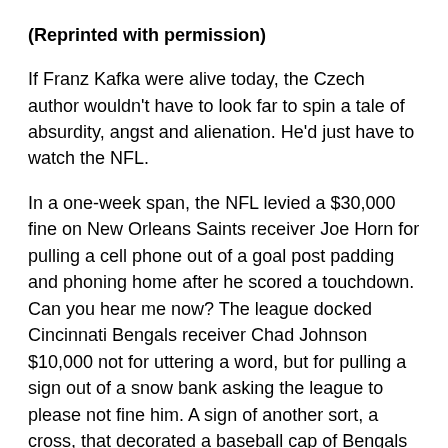(Reprinted with permission)
If Franz Kafka were alive today, the Czech author wouldn't have to look far to spin a tale of absurdity, angst and alienation. He'd just have to watch the NFL.
In a one-week span, the NFL levied a $30,000 fine on New Orleans Saints receiver Joe Horn for pulling a cell phone out of a goal post padding and phoning home after he scored a touchdown. Can you hear me now? The league docked Cincinnati Bengals receiver Chad Johnson $10,000 not for uttering a word, but for pulling a sign out of a snow bank asking the league to please not fine him. A sign of another sort, a cross, that decorated a baseball cap of Bengals quarterback Jon Kitna cost him $5,000.